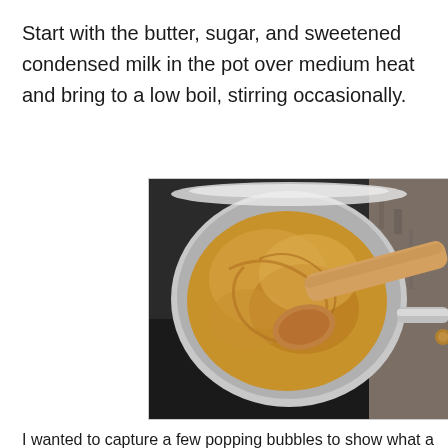Start with the butter, sugar, and sweetened condensed milk in the pot over medium heat and bring to a low boil, stirring occasionally.
[Figure (photo): A silver saucepan viewed from above on a stovetop, containing a golden-brown caramel mixture being stirred with a wooden spoon. The pan sits on a black burner grate with granite countertop visible to the right.]
I wanted to capture a few popping bubbles to show what a "low